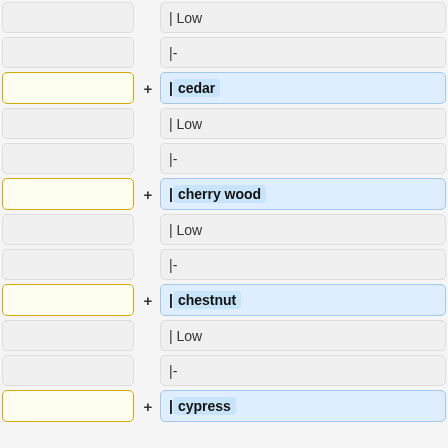| Low
|-
| cedar
| Low
|-
| cherry wood
| Low
|-
| chestnut
| Low
|-
| cypress